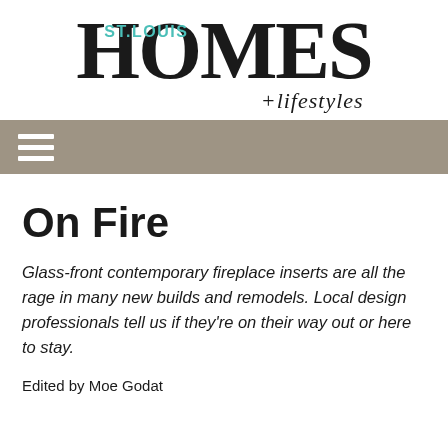[Figure (logo): St. Louis Homes + lifestyles magazine logo with large serif HOMES text, teal ST.LOUIS text, and italic +lifestyles subtitle]
[Figure (other): Tan/khaki navigation bar with white hamburger menu icon (three horizontal lines)]
On Fire
Glass-front contemporary fireplace inserts are all the rage in many new builds and remodels. Local design professionals tell us if they're on their way out or here to stay.
Edited by Moe Godat